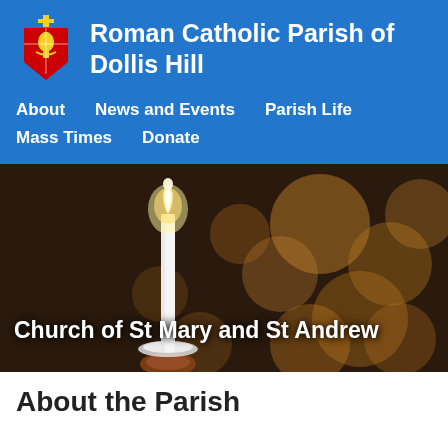[Figure (logo): Roman Catholic Diocese coat of arms / bishop's crest logo]
Roman Catholic Parish of Dollis Hill
About
News and Events
Parish Life
Mass Times
Donate
[Figure (photo): A lit white candle held in a hand against a blurred bokeh background of warm golden lights]
Church of St Mary and St Andrew
About the Parish